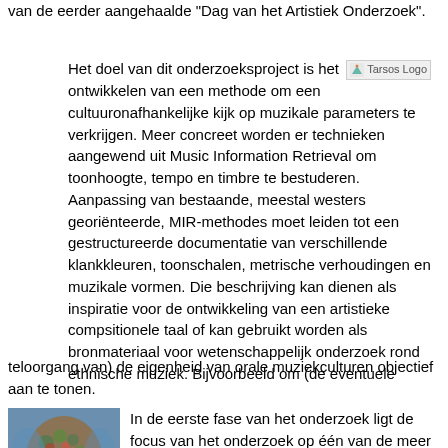van de eerder aangehaalde "Dag van het Artistiek Onderzoek".
Het doel van dit onderzoeksproject is het [Tarsos Logo] ontwikkelen van een methode om een cultuuronafhankelijke kijk op muzikale parameters te verkrijgen. Meer concreet worden er technieken aangewend uit Music Information Retrieval om toonhoogte, tempo en timbre te bestuderen. Aanpassing van bestaande, meestal westers georiënteerde, MIR-methodes moet leiden tot een gestructureerde documentatie van verschillende klankkleuren, toonschalen, metrische verhoudingen en muzikale vormen. Die beschrijving kan dienen als inspiratie voor de ontwikkeling van een artistieke compsitionele taal of kan gebruikt worden als bronmateriaal voor wetenschappelijk onderzoek rond ethnische muziek. Bijvoorbeeld om (de eventuele
teloorgang van) de eigenheid van orale muziekculturen objectief aan te tonen.
[Figure (map): Colorful map of Africa with red and green vegetation/terrain markings]
In de eerste fase van het onderzoek ligt de focus van het onderzoek op één van de meer tastbare parameters: toonhoogte. In etnische muziek is het